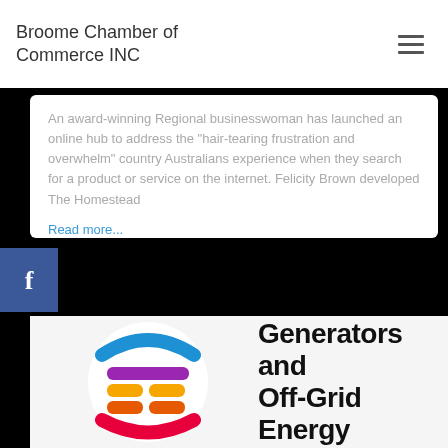Broome Chamber of Commerce INC
An award-winning Regional businesswoman has launched an online hub to address the "hair-tearing frustration and overwhelm" country Australians experience when they search for a product or service on the internet. Felicity Brown developed The Homestead
Read more...
[Figure (logo): Generators and Off-Grid Energy logo with colorful circular icon made of horizontal bar segments in blue, purple, orange, yellow, red and pink colors, with bold text 'Generators and Off-Grid Energy' to the right]